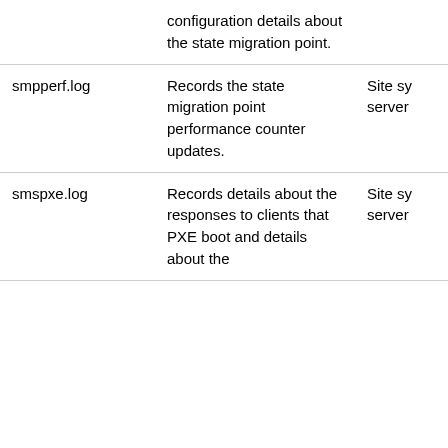|  | configuration details about the state migration point. |  |
| smpperf.log | Records the state migration point performance counter updates. | Site sy server |
| smspxe.log | Records details about the responses to clients that PXE boot and details about the | Site sy server |